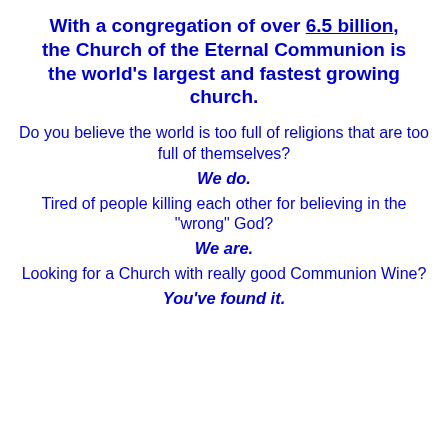With a congregation of over 6.5 billion, the Church of the Eternal Communion is the world's largest and fastest growing church.
Do you believe the world is too full of religions that are too full of themselves?
We do.
Tired of people killing each other for believing in the "wrong" God?
We are.
Looking for a Church with really good Communion Wine?
You've found it.